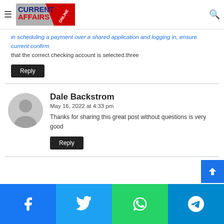Current Affairs Online – navigation header with logo, hamburger menu, and search icon
in scheduling a payment over a shared application and logging in, ensure current confirm that the correct checking account is selected.three
Reply
Dale Backstrom
May 16, 2022 at 4:33 pm
Thanks for sharing this great post without questions is very good
Reply
Social share bar: Facebook, Twitter, WhatsApp, Telegram